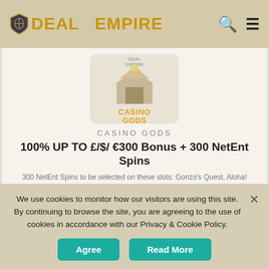DEAL EMPIRE
[Figure (logo): Casino Gods logo — building/temple graphic with 'CASINOGODS' text in orange on beige background]
CASINO GODS
100% UP TO £/$/ €300 Bonus + 300 NetEnt Spins
300 NetEnt Spins to be selected on these slots: Gonzo's Quest, Aloha! Cluster Pays, Fairytale Legends: Red Riding Hood or Starburst
Accepted Countries: 🇬🇧🇦🇺🇨🇦🇩🇪🇸🇪🇮🇹🇮🇪🇩🇰🇳🇿
[Figure (infographic): Rating box showing 4 filled gold stars and 1 empty star with score 4.0]
18+ T&C's Apply |
We use cookies to monitor how our visitors are using this site. By continuing to browse the site, you are agreeing to the use of cookies in accordance with our Privacy & Cookie Policy.